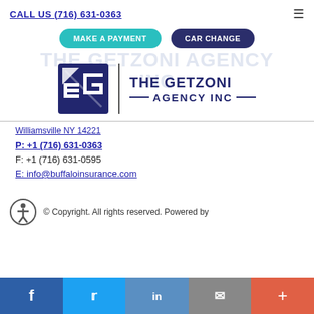CALL US (716) 631-0363
MAKE A PAYMENT  |  CAR CHANGE
[Figure (logo): The Getzoni Agency Inc logo with stylized GT icon and text THE GETZONI AGENCY INC]
Williamsville NY 14221
P: +1 (716) 631-0363
F: +1 (716) 631-0595
E: info@buffaloinsurance.com
© Copyright. All rights reserved. Powered by
Facebook  Twitter  LinkedIn  Email  More